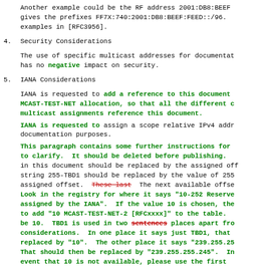Another example could be the RF address 2001:DB8:BEEF gives the prefixes FF7X:740:2001:DB8:BEEF:FEED::/96. examples in [RFC3956].
4.  Security Considerations
The use of specific multicast addresses for documentation has no negative impact on security.
5.  IANA Considerations
IANA is requested to add a reference to this document MCAST-TEST-NET allocation, so that all the different multicast assignments reference this document.
IANA is requested to assign a scope relative IPv4 address documentation purposes.
This paragraph contains some further instructions for to clarify.  It should be deleted before publishing. in this document should be replaced by the assigned offset. string 255-TBD1 should be replaced by the value of 255 assigned offset.  These last  The next available offset Look in the registry for where it says "10-252 Reserved assigned by the IANA".  If the value 10 is chosen, the to add "10 MCAST-TEST-NET-2 [RFCxxxx]" to the table. be 10.  TBD1 is used in two sentences places apart from considerations.  In one place it says just TBD1, that replaced by "10".  The other place it says "239.255.255 That should then be replaced by "239.255.255.245".  In event that 10 is not available, please use the first